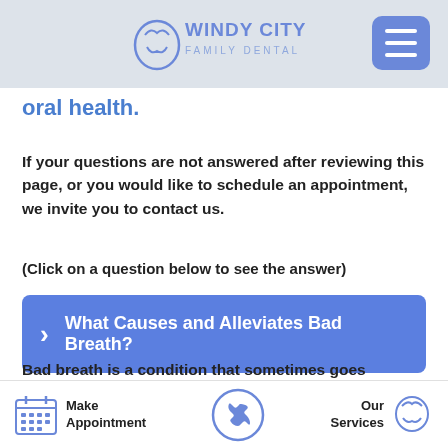Windy City Family Dental
oral health.
If your questions are not answered after reviewing this page, or you would like to schedule an appointment, we invite you to contact us.
(Click on a question below to see the answer)
What Causes and Alleviates Bad Breath?
Bad breath is a condition that sometimes goes unnoticed by patients for long periods of time. It is a
Make Appointment | [phone] | Our Services